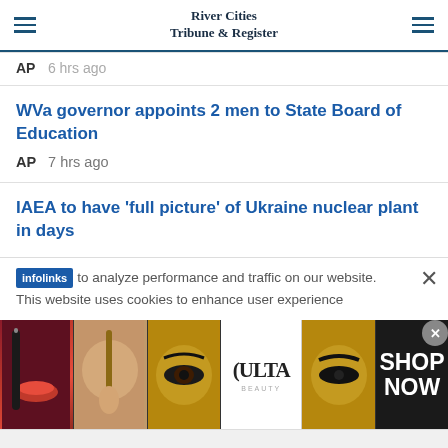River Cities Tribune & Register
AP  6 hrs ago
WVa governor appoints 2 men to State Board of Education
AP  7 hrs ago
IAEA to have 'full picture' of Ukraine nuclear plant in days
This website uses cookies to enhance user experience to analyze performance and traffic on our website.
[Figure (infographic): Ulta Beauty advertisement banner with makeup/beauty product images and 'SHOP NOW' call to action]